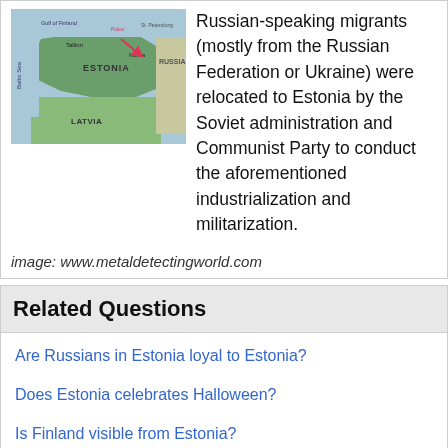[Figure (map): Map of Estonia showing neighboring countries including Russia, Latvia, with Baltic Sea and Gulf of Finland labeled. Cities including Narva and Tallinn marked. Pink arrow pointing to Narva region.]
Russian-speaking migrants (mostly from the Russian Federation or Ukraine) were relocated to Estonia by the Soviet administration and Communist Party to conduct the aforementioned industrialization and militarization.
image: www.metaldetectingworld.com
Related Questions
Are Russians in Estonia loyal to Estonia?
Does Estonia celebrates Halloween?
Is Finland visible from Estonia?
How can Finland and Estonia have the same national anthem?